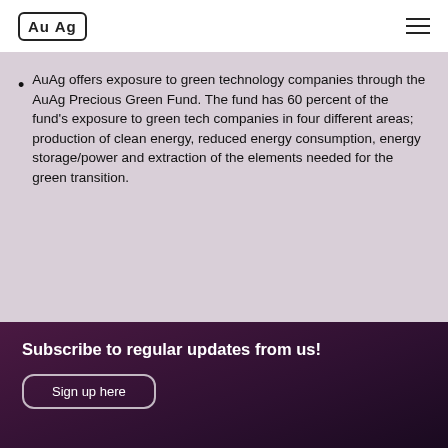AuAg
AuAg offers exposure to green technology companies through the AuAg Precious Green Fund. The fund has 60 percent of the fund's exposure to green tech companies in four different areas; production of clean energy, reduced energy consumption, energy storage/power and extraction of the elements needed for the green transition.
Subscribe to regular updates from us!
Sign up here